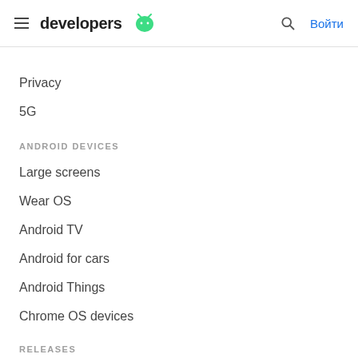developers
Privacy
5G
ANDROID DEVICES
Large screens
Wear OS
Android TV
Android for cars
Android Things
Chrome OS devices
RELEASES
Android 11